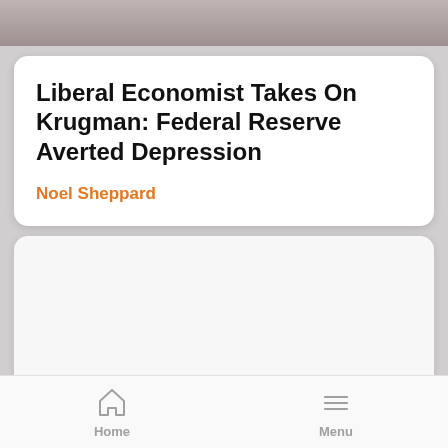[Figure (photo): Top image strip showing partially visible article header image with dark/muted tones]
Liberal Economist Takes On Krugman: Federal Reserve Averted Depression
Noel Sheppard
[Figure (other): Second article card, blank/loading content area]
Home   Menu